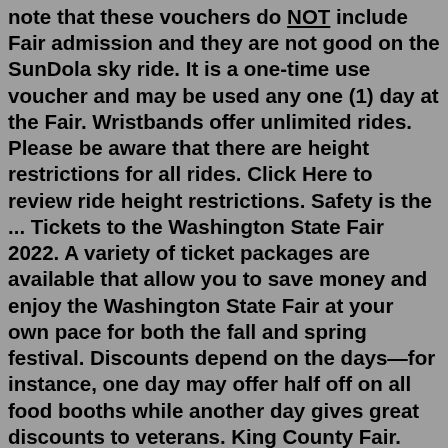note that these vouchers do NOT include Fair admission and they are not good on the SunDola sky ride. It is a one-time use voucher and may be used any one (1) day at the Fair. Wristbands offer unlimited rides. Please be aware that there are height restrictions for all rides. Click Here to review ride height restrictions. Safety is the ... Tickets to the Washington State Fair 2022. A variety of ticket packages are available that allow you to save money and enjoy the Washington State Fair at your own pace for both the fall and spring festival. Discounts depend on the days—for instance, one day may offer half off on all food booths while another day gives great discounts to veterans. King County Fair. We're the oldest fair west of the Mississippi River! The fair was founded in 1863, when Abraham Lincoln was president and The Washington Territory was 26 years from statehood. It began as a simple celebration of agriculture and originally took place in the Georgetown area. In 1965, The Fair moved to its